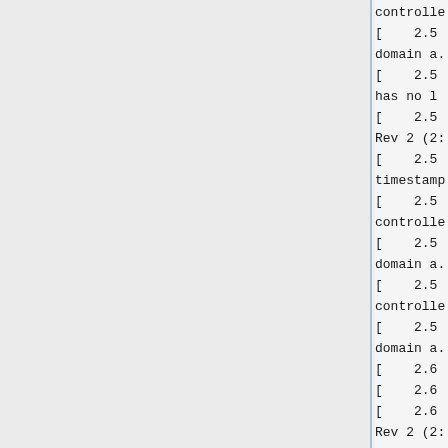controller
[    2.5
domain a.
[    2.5
has no l
[    2.5
Rev 2 (2:
[    2.5
timestamp
[    2.5
controlle
[    2.5
domain a.
[    2.5
controlle
[    2.5
domain a.
[    2.6
[    2.6
[    2.6
Rev 2 (2:
[    2.5
timestamp
[    2.5
controlle